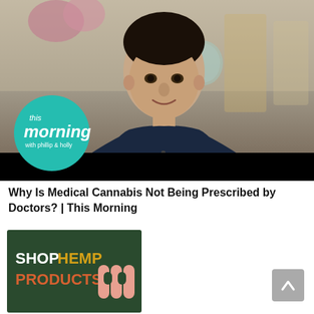[Figure (screenshot): Video thumbnail showing a man of Middle Eastern appearance on the 'This Morning with Phillip & Holly' TV show. He is smiling, wearing a dark navy sweater over a light pink shirt, with a kitchen set background. The 'This Morning' teal circular logo is overlaid in the lower left. A black bar appears at the bottom of the video frame.]
Why Is Medical Cannabis Not Being Prescribed by Doctors? | This Morning
[Figure (screenshot): Partial thumbnail image showing a dark green background with the text 'SHOP HEMP PRODUCTS' in bold white and gold/yellow lettering, with a stylized 'M' logo in peach/salmon color on the right side.]